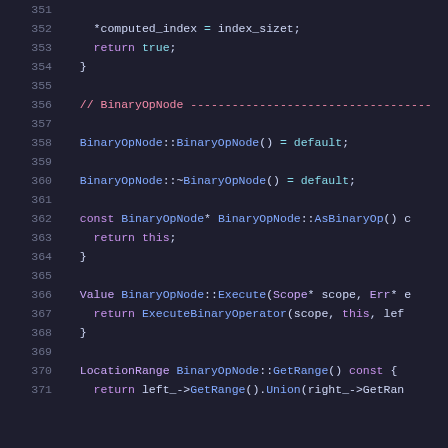[Figure (screenshot): Source code editor screenshot showing C++ code lines 351-371, with syntax highlighting on a dark background. Lines include BinaryOpNode class method implementations.]